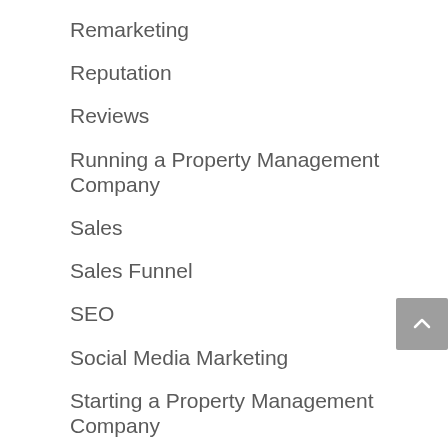Remarketing
Reputation
Reviews
Running a Property Management Company
Sales
Sales Funnel
SEO
Social Media Marketing
Starting a Property Management Company
Technology
Accessibility  ng
The Property Management Show Podcast